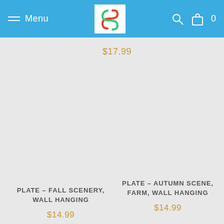Menu | Logo | Search | Cart 0
$17.99
PLATE – FALL SCENERY, WALL HANGING
$14.99
PLATE – AUTUMN SCENE, FARM, WALL HANGING
$14.99